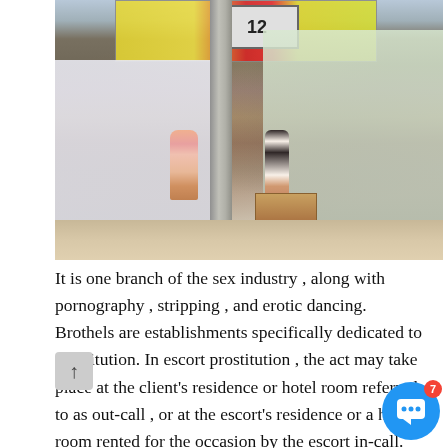[Figure (photo): Street scene in an Asian city (likely Hong Kong or similar), showing shopfronts with signs in Chinese and English, a concrete pillar, and two women standing in a covered walkway or arcade. Shops with goods visible in the background. Cluttered urban environment with boxes on the ground.]
It is one branch of the sex industry , along with pornography , stripping , and erotic dancing. Brothels are establishments specifically dedicated to prostitution. In escort prostitution , the act may take place at the client's residence or hotel room referred to as out-call , or at the escort's residence or a hotel room rented for the occasion by the escort in-call. Another form is street prostitution. There are about 42 million prostitutes in the world living